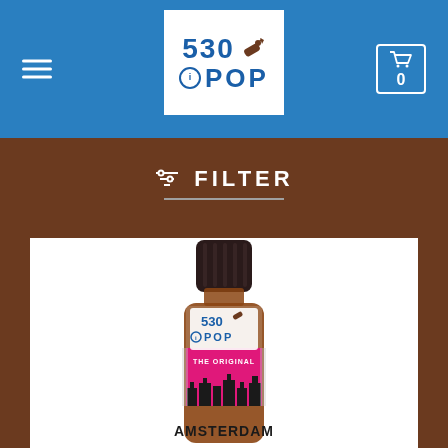530 POP — navigation header with hamburger menu and cart icon showing 0
☰ FILTER
[Figure (photo): Product photo of a small amber glass bottle with a dark ribbed cap. The bottle has a pink label showing the 530 POP logo, 'THE ORIGINAL', Amsterdam skyline silhouette, and the word AMSTERDAM at the bottom.]